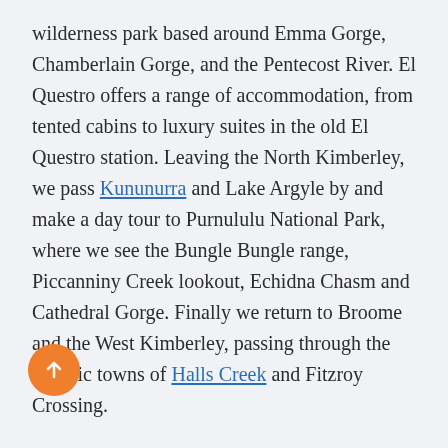wilderness park based around Emma Gorge, Chamberlain Gorge, and the Pentecost River. El Questro offers a range of accommodation, from tented cabins to luxury suites in the old El Questro station. Leaving the North Kimberley, we pass Kununurra and Lake Argyle by and make a day tour to Purnululu National Park, where we see the Bungle Bungle range, Piccanniny Creek lookout, Echidna Chasm and Cathedral Gorge. Finally we return to Broome and the West Kimberley, passing through the historic towns of Halls Creek and Fitzroy Crossing.
Our Outback Tour of the Northern Territory and Western Australia explores the Kimberley, Purnululu, [Top]lands and Arnhem Land. The tour heads out from [Darwin] to Timber creek, before then heading west